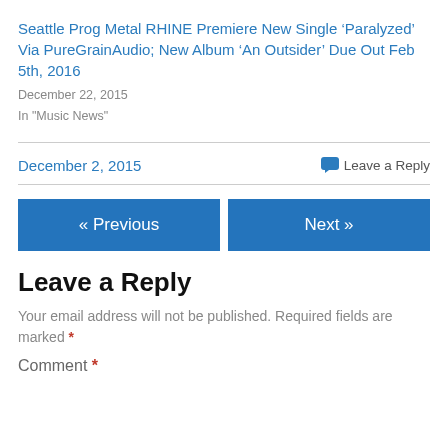Seattle Prog Metal RHINE Premiere New Single ‘Paralyzed’ Via PureGrainAudio; New Album ‘An Outsider’ Due Out Feb 5th, 2016
December 22, 2015
In “Music News”
December 2, 2015
Leave a Reply
« Previous
Next »
Leave a Reply
Your email address will not be published. Required fields are marked *
Comment *